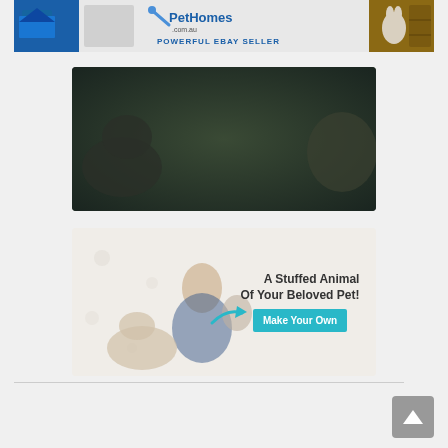[Figure (illustration): PetHomes.com.au banner ad showing pet houses, dogs, and rabbits with text 'POWERFUL EBAY SELLER']
[Figure (illustration): Pet memorials advertisement with dark background showing dogs, text 'Cherish Your Pet's Memory', 'Explore Your Options For Pet Memorials in Australia', and a blue 'Find Out More' button]
[Figure (illustration): Stuffed animal advertisement showing woman sitting with dogs, text 'A Stuffed Animal Of Your Beloved Pet!' and a cyan 'Make Your Own' button]